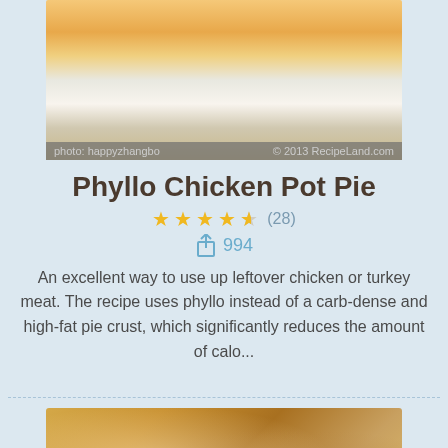[Figure (photo): Photo of Phyllo Chicken Pot Pie in a casserole dish, with overlay text 'photo: happyzhangbo © 2013 RecipeLand.com']
Phyllo Chicken Pot Pie
★★★★☆ (28)
994
An excellent way to use up leftover chicken or turkey meat. The recipe uses phyllo instead of a carb-dense and high-fat pie crust, which significantly reduces the amount of calo...
[Figure (photo): Close-up photo of phyllo pastry parcels on a plate]